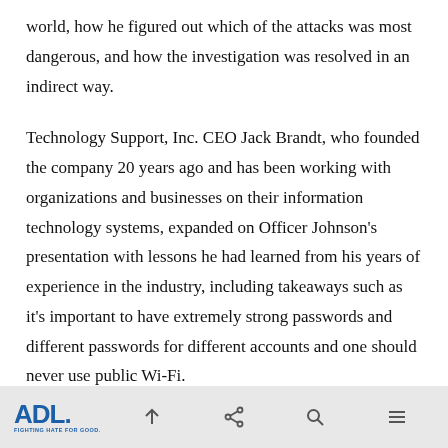world, how he figured out which of the attacks was most dangerous, and how the investigation was resolved in an indirect way.
Technology Support, Inc. CEO Jack Brandt, who founded the company 20 years ago and has been working with organizations and businesses on their information technology systems, expanded on Officer Johnson's presentation with lessons he had learned from his years of experience in the industry, including takeaways such as it's important to have extremely strong passwords and different passwords for different accounts and one should never use public Wi-Fi.
ADL. FIGHTING HATE FOR GOOD.